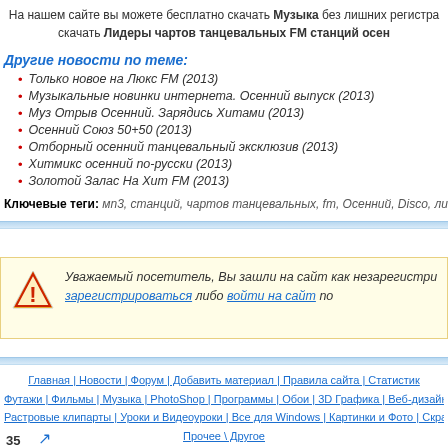На нашем сайте вы можете бесплатно скачать Музыка без лишних регистра скачать Лидеры чартов танцевальных FM станций осен
Другие новости по теме:
Только новое на Люкс FM (2013)
Музыкальные новинки интернета. Осенний выпуск (2013)
Муз Отрыв Осенний. Зарядись Хитами (2013)
Осенний Союз 50+50 (2013)
Отборный осенний танцевальный эксклюзив (2013)
Хитмикс осенний по-русски (2013)
Золотой Залас На Хит FM (2013)
Ключевые теги: мп3, станций, чартов танцевальных, fm, Осенний, Disco, лидеры, Д
Уважаемый посетитель, Вы зашли на сайт как незарегистрированн зарегистрироваться либо войти на сайт по
Главная | Новости | Форум | Добавить материал | Правила сайта | Статистик Футажи | Фильмы | Музыка | PhotoShop | Программы | Обои | 3D Графика | Веб-дизайн \ Диза Растровые клипарты | Уроки и Видеоуроки | Все для Windows | Картинки и Фото | Скрап-набо Прочее \ Другое